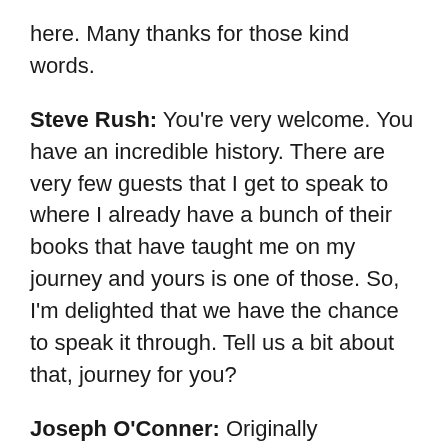here. Many thanks for those kind words.
Steve Rush: You're very welcome. You have an incredible history. There are very few guests that I get to speak to where I already have a bunch of their books that have taught me on my journey and yours is one of those. So, I'm delighted that we have the chance to speak it through. Tell us a bit about that, journey for you?
Joseph O'Conner: Originally [laugh]many years ago, I was professional guitarist. I was a professional musician, and this got me into an interest, of course, in how we perform? You know, how people do well or not. Because if you're playing classical guitar in front of a group of people, it's quite nerve wracking. So, I found that